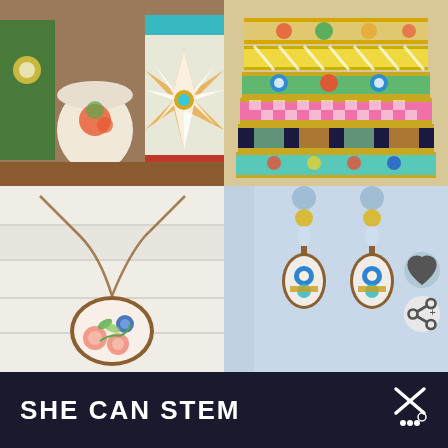[Figure (photo): Four-photo grid collage showing handmade jewelry and decorative items: top-left shows colorful decorated tin canisters/books with floral and geometric patterns; top-right shows a stack of colorful patterned enamel bangle bracelets; bottom-left shows a bronze chain necklace with a large oval floral pendant on a white wood background; bottom-right shows a pair of dangle earrings with enamel floral pendants and crystal/bead accents with social media buttons overlaid]
SHE CAN STEM